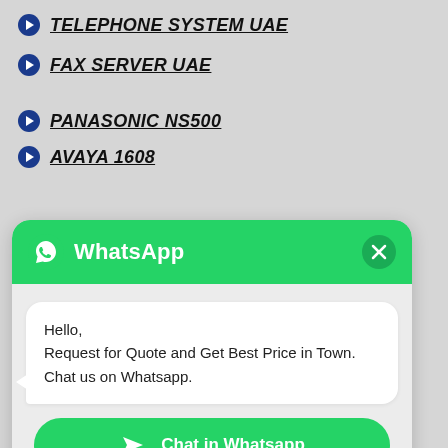TELEPHONE SYSTEM UAE
FAX SERVER UAE
PANASONIC NS500
AVAYA 1608
[Figure (screenshot): WhatsApp chat popup widget with green header showing WhatsApp logo and title, a message bubble saying 'Hello, Request for Quote and Get Best Price in Town. Chat us on Whatsapp.' and a green 'Chat in Whatsapp' button.]
IP PBX DUBAI